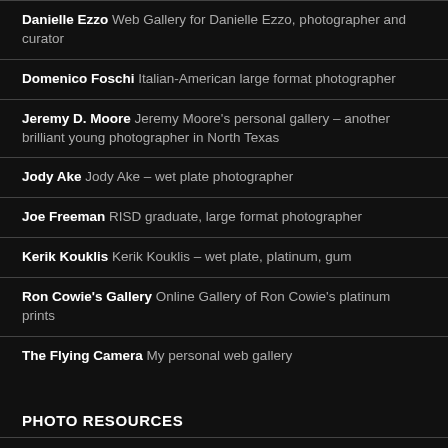Danielle Ezzo Web Gallery for Danielle Ezzo, photographer and curator
Domenico Foschi Italian-American large format photographer
Jeremy D. Moore Jeremy Moore's personal gallery – another brilliant young photographer in North Texas
Jody Ake Jody Ake – wet plate photographer
Joe Freeman RISD graduate, large format photographer
Kerik Kouklis Kerik Kouklis – wet plate, platinum, gum
Ron Cowie's Gallery Online Gallery of Ron Cowie's platinum prints
The Flying Camera My personal web gallery
PHOTO RESOURCES
Alternative Photography Information clearinghouse for Alternative Processes